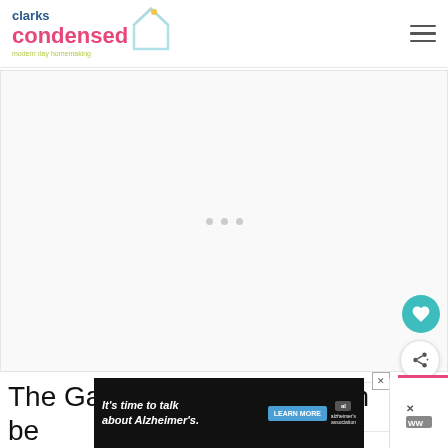clarks condensed - modern day homemaking
[Figure (other): Large banner/ad placeholder area with three gray dots centered]
[Figure (infographic): Teal circular FAB button with heart icon]
[Figure (infographic): White circular FAB button with share icon]
[Figure (other): What's Next banner with small thumbnail image and text: Preparing Your Home f...]
The Garage door opener can be co...nnyou
[Figure (other): Pink button with up arrow icon]
[Figure (other): Advertisement banner: It's time to talk about Alzheimer's. LEARN MORE. Alzheimer's Association logo. Close button and WW logo.]